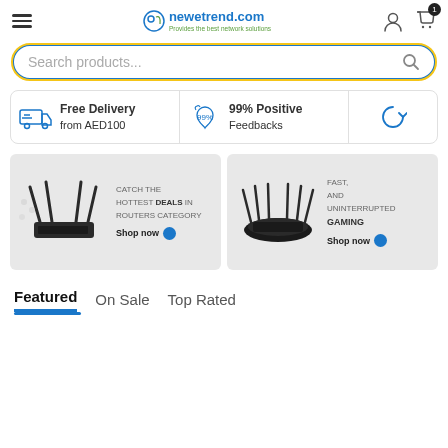newetrend.com – Provides the best network solutions
Search products...
Free Delivery from AED100 | 99% Positive Feedbacks
[Figure (screenshot): Two promotional banners side by side. Left: Router with text 'CATCH THE HOTTEST DEALS IN ROUTERS CATEGORY – Shop now'. Right: Gaming router with text 'FAST, AND UNINTERRUPTED GAMING – Shop now'.]
Featured  On Sale  Top Rated